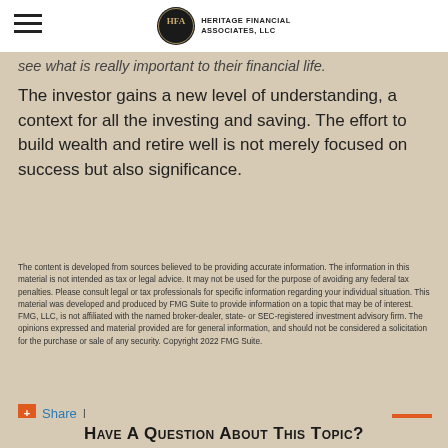Heritage Financial Associates, LLC
see what is really important to their financial life.
The investor gains a new level of understanding, a context for all the investing and saving. The effort to build wealth and retire well is not merely focused on success but also significance.
The content is developed from sources believed to be providing accurate information. The information in this material is not intended as tax or legal advice. It may not be used for the purpose of avoiding any federal tax penalties. Please consult legal or tax professionals for specific information regarding your individual situation. This material was developed and produced by FMG Suite to provide information on a topic that may be of interest. FMG, LLC, is not affiliated with the named broker-dealer, state- or SEC-registered investment advisory firm. The opinions expressed and material provided are for general information, and should not be considered a solicitation for the purchase or sale of any security. Copyright 2022 FMG Suite.
Share |
Have A Question About This Topic?